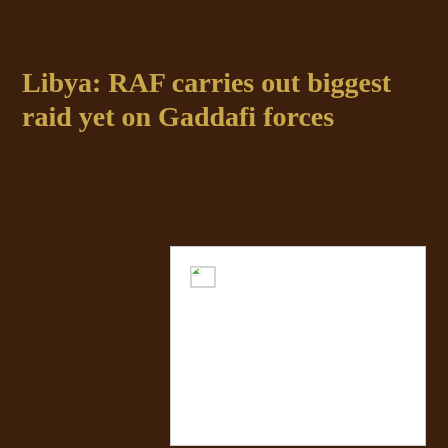Libya: RAF carries out biggest raid yet on Gaddafi forces
[Figure (photo): Broken/missing image placeholder (white rectangle with broken image icon in top-left corner)]
The RAF has stepped up it attacks on Col Gaddafi's forces carrying out its biggest ever raid on Libya, destroying more than 20 targets in a day.
The strikes come as defence sources suggest that a "final push" is beginning to develop to remove the former Libyan regime troops from their last strongholds.